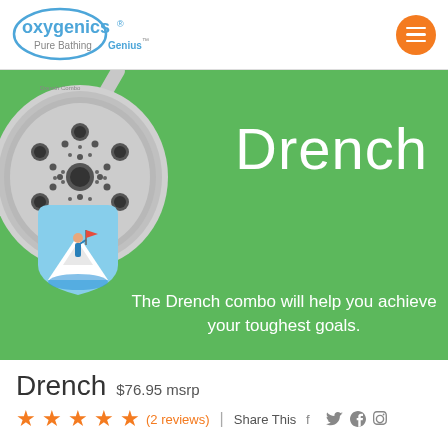oxygenics® Pure Bathing Genius™
[Figure (photo): Large round shower head product photo on green background with Drench mascot logo (person on snowy mountain with orange flag)]
Drench
The Drench combo will help you achieve your toughest goals.
Drench  $76.95 msrp
★★★★★  (2 reviews)  |  Share This  f  Twitter  Pinterest